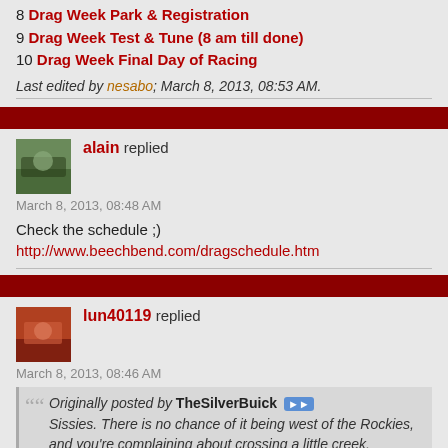8 Drag Week Park & Registration
9 Drag Week Test & Tune (8 am till done)
10 Drag Week Final Day of Racing
Last edited by nesabo; March 8, 2013, 08:53 AM.
alain replied
March 8, 2013, 08:48 AM
Check the schedule ;)
http://www.beechbend.com/dragschedule.htm
lun40119 replied
March 8, 2013, 08:46 AM
Originally posted by TheSilverBuick
Sissies. There is no chance of it being west of the Rockies, and you're complaining about crossing a little creek.